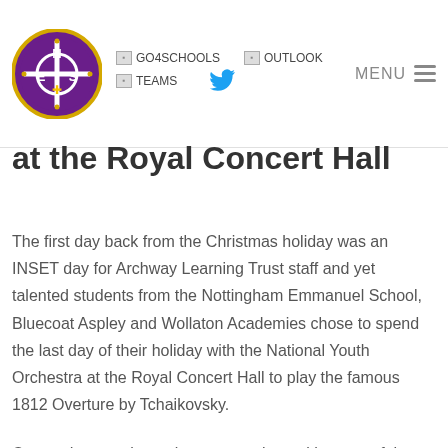NES logo | GO4SCHOOLS | OUTLOOK | TEAMS | Twitter | MENU
at the Royal Concert Hall
The first day back from the Christmas holiday was an INSET day for Archway Learning Trust staff and yet talented students from the Nottingham Emmanuel School, Bluecoat Aspley and Wollaton Academies chose to spend the last day of their holiday with the National Youth Orchestra at the Royal Concert Hall to play the famous 1812 Overture by Tchaikovsky.
Our students took part in a masterclass with some of the greatest musicians from Great Britain's National Youth Orchestra and produced a powerful, moving and